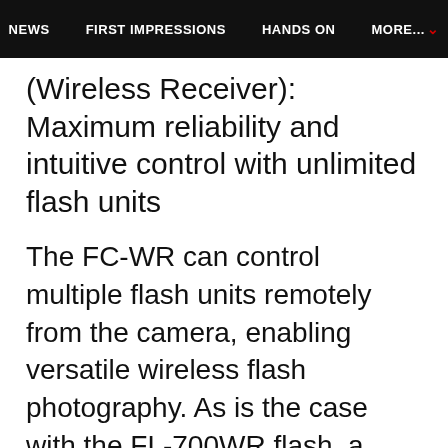NEWS   FIRST IMPRESSIONS   HANDS ON   MORE...
(Wireless Receiver): Maximum reliability and intuitive control with unlimited flash units
The FC-WR can control multiple flash units remotely from the camera, enabling versatile wireless flash photography. As is the case with the FL-700WR flash, a dust-, splash-, and freezeproof (-10°C) construction allows use in a variety of fields. The commander can connect to three groups and an unlimited number of flash units.